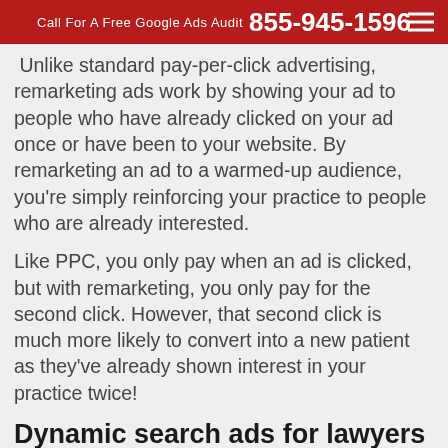Call For A Free Google Ads Audit  855-945-1596
Unlike standard pay-per-click advertising, remarketing ads work by showing your ad to people who have already clicked on your ad once or have been to your website. By remarketing an ad to a warmed-up audience, you're simply reinforcing your practice to people who are already interested.
Like PPC, you only pay when an ad is clicked, but with remarketing, you only pay for the second click. However, that second click is much more likely to convert into a new patient as they've already shown interest in your practice twice!
Dynamic search ads for lawyers
Adapt your PPC strategy based on the